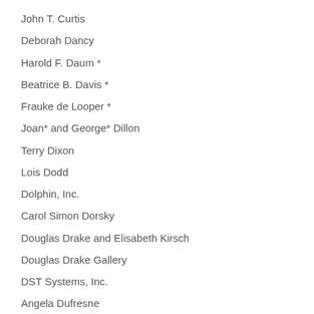John T. Curtis
Deborah Dancy
Harold F. Daum *
Beatrice B. Davis *
Frauke de Looper *
Joan* and George* Dillon
Terry Dixon
Lois Dodd
Dolphin, Inc.
Carol Simon Dorsky
Douglas Drake and Elisabeth Kirsch
Douglas Drake Gallery
DST Systems, Inc.
Angela Dufresne